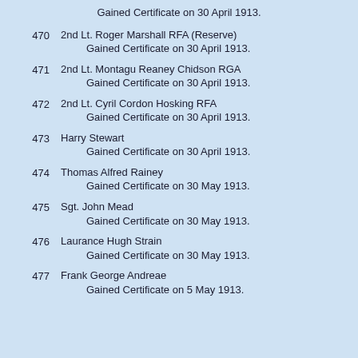Gained Certificate on 30 April 1913.
470  2nd Lt. Roger Marshall RFA (Reserve)
          Gained Certificate on 30 April 1913.
471  2nd Lt. Montagu Reaney Chidson RGA
          Gained Certificate on 30 April 1913.
472  2nd Lt. Cyril Cordon Hosking RFA
          Gained Certificate on 30 April 1913.
473  Harry Stewart
          Gained Certificate on 30 April 1913.
474  Thomas Alfred Rainey
          Gained Certificate on 30 May 1913.
475  Sgt. John Mead
          Gained Certificate on 30 May 1913.
476  Laurance Hugh Strain
          Gained Certificate on 30 May 1913.
477  Frank George Andreae
          Gained Certificate on 5 May 1913.